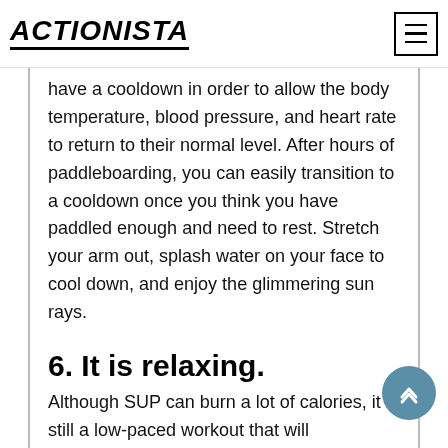ACTIONISTA
have a cooldown in order to allow the body temperature, blood pressure, and heart rate to return to their normal level. After hours of paddleboarding, you can easily transition to a cooldown once you think you have paddled enough and need to rest. Stretch your arm out, splash water on your face to cool down, and enjoy the glimmering sun rays.
6. It is relaxing.
Although SUP can burn a lot of calories, it is still a low-paced workout that will